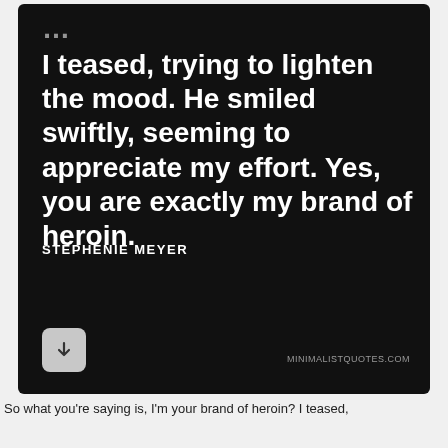[Figure (screenshot): Dark card with white bold quote text: 'I teased, trying to lighten the mood. He smiled swiftly, seeming to appreciate my effort. Yes, you are exactly my brand of heroin.' attributed to STEPHENIE MEYER, with a download button and minimalistquotes.com URL]
So what you're saying is, I'm your brand of heroin? I teased,